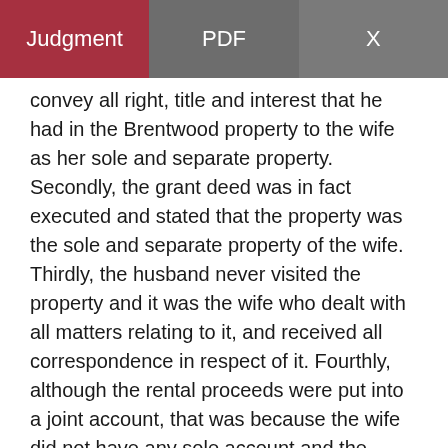Judgment | PDF | X
convey all right, title and interest that he had in the Brentwood property to the wife as her sole and separate property. Secondly, the grant deed was in fact executed and stated that the property was the sole and separate property of the wife. Thirdly, the husband never visited the property and it was the wife who dealt with all matters relating to it, and received all correspondence in respect of it. Fourthly, although the rental proceeds were put into a joint account, that was because the wife did not have any sole account and the proceeds themselves were utilised solely by the wife for maintaining the property, to pay expenses relating to her mother and for her spending money in the United States.
Counsel further submitted that the grant deed and the escrow instructions were clear evidence that the husband